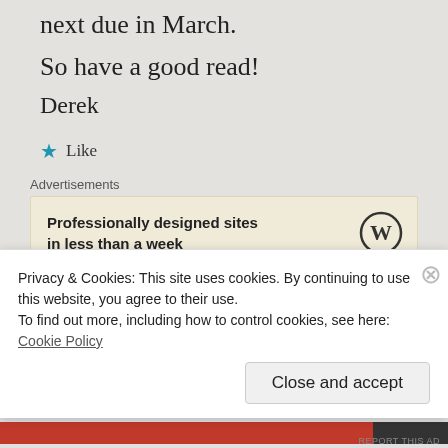next due in March.
So have a good read!
Derek
Like
Advertisements
[Figure (other): WordPress advertisement: Professionally designed sites in less than a week, with WordPress logo]
REPORT THIS AD
Reg  October 14, 2016 at 9:06 am · Reply
Privacy & Cookies: This site uses cookies. By continuing to use this website, you agree to their use.
To find out more, including how to control cookies, see here: Cookie Policy
Close and accept
REPORT THIS AD